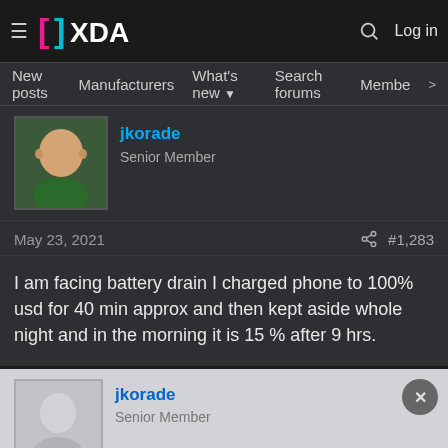XDA Forums — Navigation bar with hamburger menu, XDA logo, search icon, Log in
New posts  Manufacturers  What's new  Search forums  Membe  >
jkorade
Senior Member
May 23, 2021   #1,283
I am facing battery drain I charged phone to 100% usd for 40 min approx and then kept aside whole night and in the morning it is 15 % after 9 hrs.
jkorade
Senior Member
[Figure (screenshot): Hulu Disney+ ESPN+ GET THE DISNEY BUNDLE advertisement banner with fine print: Incl. Hulu (ad-supported) or Hulu (No Ads). Access content from each service separately. ©2021 Disney and its related entities]
May 23, 202...   #1,284